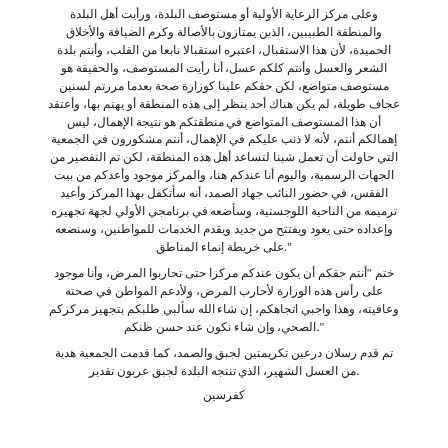وعلى مركز الرعاية الأولية أو مستوصف البلدة، ورأيت أهل البلدة والمنطقة الطبيبين، الذين يمتازون بالأصالة وكرم الضيافة والأخلاق الحميدة، لأن هذا الاستقبال، اعتبره استقبالا نابعا من القلب، وأنتم بلدة الشعر والعسل وأنتم كلكم عسل، أنا رأيت المستوصف، والحقيقة هو مستوصف متواضع، لكن حقكم علينا كوزارة صحة بعدما مررتم لسنين عجاف طويلة، لم يكن هناك أحد ينظر إلى هذه المنطقة أو يهتم بها، وأعتقد أن هذا المستوصف المتواضع في منطقتكم هو نتيجة الإهمال، ليس إهمالكم أنتم، لأنه لا ذنب عليكم في الإهمال، أنتم مشكورون في الجمعية التي حاولت أن تعمل شينا لتساعد أهل هذه المنطقة، لكن تم التقصير من الجهات الرسمية، واليوم أنا عندكم هنا، والمركز موجود وأعدكم من بيت الفقس، في حضور النائب جهاد الصمد، أنه سأتكفل بهذا المركز وأعيد ترميمه من الناحية اللوجستية، وسأضعه في برنامجي الأولي لجهة تجهيزه وإعداده حتى يعود ويفتتح من جديد ويقدم الخدمات للمواطنين، وسنضعه على خريطة إنماء المناطق.
ختم "أنتم حقكم أن يكون عندكم مركزا حتى تحاربوا المرض، وأنا موجود على رأس هذه الوزارة لأحارب المرض، ولأدعم المواطن في صحته وعافيته، وهذا واجبي اتجاهكم، إن شاء الله سألبي طلبكم بتجهيز مركزكم الصحي، وإن شاء نكون عند حسن ظنكم".
تم قدم رسلان درعين تكريمتين لجبق والصمد، كما قدمت الجمعية هدية من العسل الشهير، الذي تنتجه البلدة لجبق عربون تقدير.
كفرسين